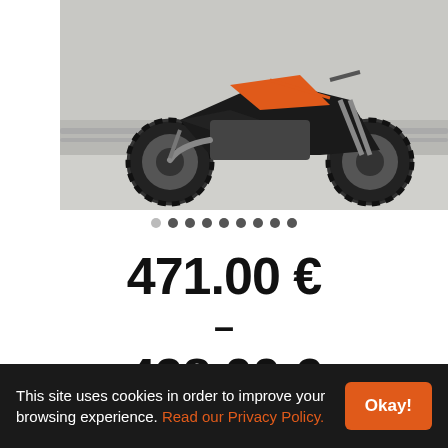[Figure (photo): A dirt/adventure motorcycle (KTM style, black and orange) parked on a concrete surface outdoors, viewed from the side-front angle.]
471.00 €
–
498.00 €
exc. Vat
This site uses cookies in order to improve your browsing experience. Read our Privacy Policy.